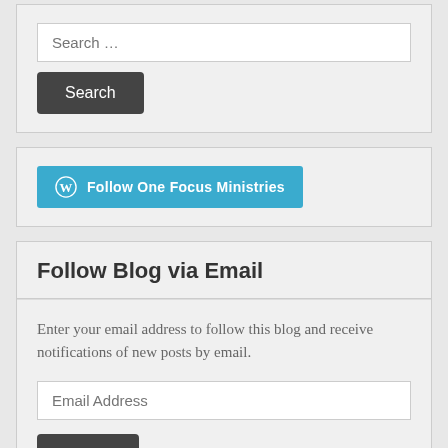Search …
Search
Follow One Focus Ministries
Follow Blog via Email
Enter your email address to follow this blog and receive notifications of new posts by email.
Email Address
Follow